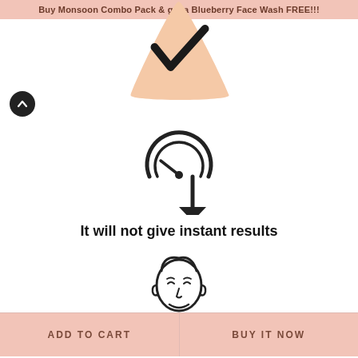Buy Monsoon Combo Pack & get a Blueberry Face Wash FREE!!!
[Figure (illustration): Peach/skin-tone triangular shape with a dark checkmark in the center, partially cropped at top]
[Figure (illustration): Speed gauge/clock icon with a downward arrow, indicating no instant results]
It will not give instant results
[Figure (illustration): Line drawing of a woman's face with eyes closed and short hair]
ADD TO CART
BUY IT NOW